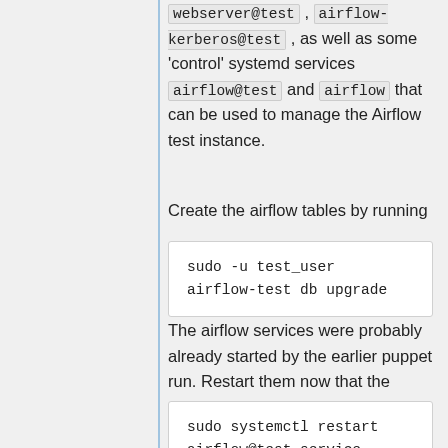webserver@test , airflow-kerberos@test , as well as some 'control' systemd services airflow@test and airflow that can be used to manage the Airflow test instance.
Create the airflow tables by running
sudo -u test_user airflow-test db upgrade
The airflow services were probably already started by the earlier puppet run. Restart them now that the airflow tables are created properly.
sudo systemctl restart airflow@test.service